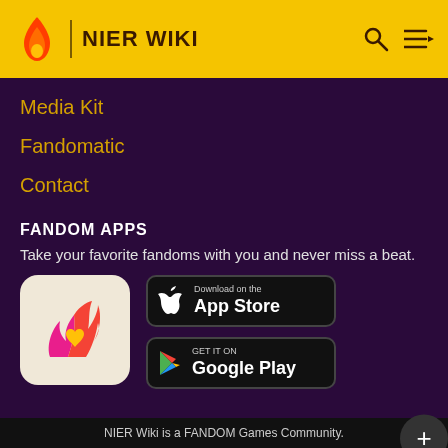NIER WIKI
Media Kit
Fandomatic
Contact
FANDOM APPS
Take your favorite fandoms with you and never miss a beat.
[Figure (logo): Fandom app icon: red/pink flame shape with yellow heart on cream background]
[Figure (screenshot): Download on the App Store button (black, Apple logo)]
[Figure (screenshot): Get it on Google Play button (black, Google Play triangle logo)]
NIER Wiki is a FANDOM Games Community.